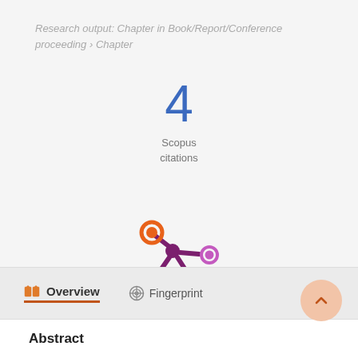Research output: Chapter in Book/Report/Conference proceeding › Chapter
4 Scopus citations
[Figure (logo): Altmetric logo — asterisk-like figure with orange, purple, and pink circles]
Overview   Fingerprint
Abstract